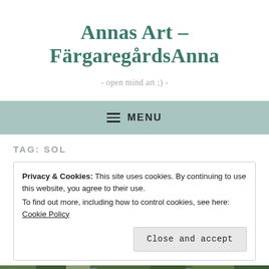Annas Art – FärgaregårdsAnna
- open mind art ;) -
≡ MENU
TAG: SOL
Privacy & Cookies: This site uses cookies. By continuing to use this website, you agree to their use.
To find out more, including how to control cookies, see here: Cookie Policy
Close and accept
[Figure (photo): Bottom strip showing a garden/flower photo with purple flowers and green foliage]